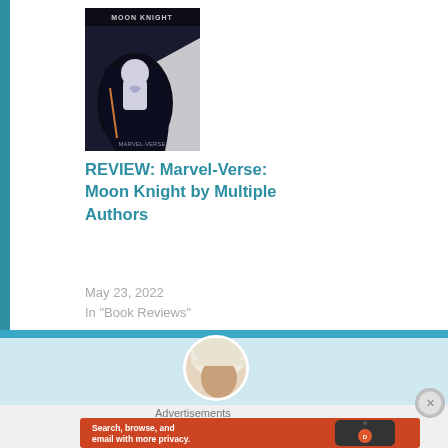[Figure (illustration): Book cover for Marvel-Verse: Moon Knight showing a superhero figure in dark costume against a mixed dark and light background with 'Moon Knight' text at top]
REVIEW: Marvel-Verse: Moon Knight by Multiple Authors
May 23, 2022
In "Book Reviews"
[Figure (photo): Circular avatar/profile photo showing a person with light hair, partially cropped at bottom of section]
Advertisements
[Figure (screenshot): DuckDuckGo advertisement banner with orange background showing text: Search, browse, and email with more privacy. All in One Free App. Shows a phone with DuckDuckGo logo.]